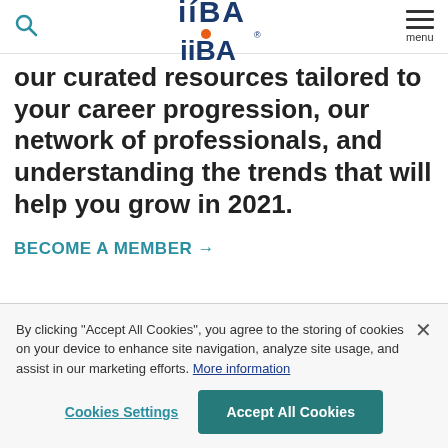IIBA logo, search icon, menu
our curated resources tailored to your career progression, our network of professionals, and understanding the trends that will help you grow in 2021.
BECOME A MEMBER →
Read the Business Analysis is Changing and 8 Women to Watch in 2021 Influencers Trends
By clicking "Accept All Cookies", you agree to the storing of cookies on your device to enhance site navigation, analyze site usage, and assist in our marketing efforts. More information
Cookies Settings
Accept All Cookies